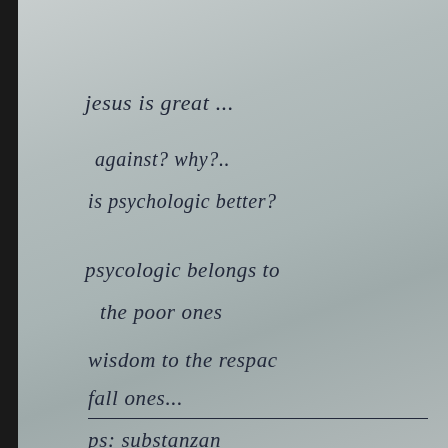jesus is great ...
against? why?..
is psychologic better?
psycologic belongs to
the poor ones
wisdom to the respac
fall ones...
ps: substanzan